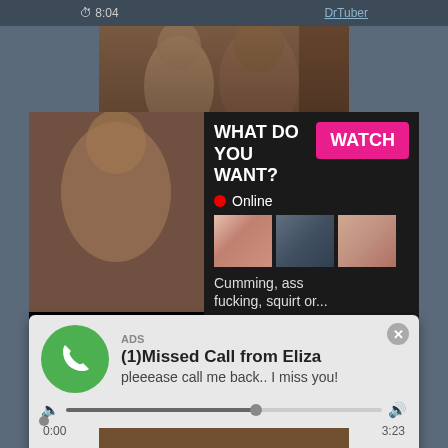⏱ 8:04   DrTuber
[Figure (photo): Screenshot of adult video website with thumbnails and advertisements]
WHAT DO YOU WANT?
WATCH
● Online
Cumming, ass fucking, squirt or...
• ADS
ADS
(1)Missed Call from Eliza
pleeease call me back.. I miss you!
0:00
3:23